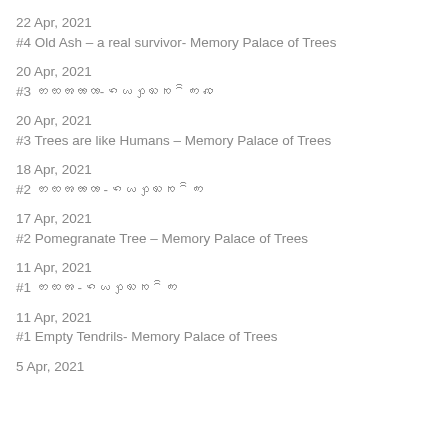22 Apr, 2021
#4 Old Ash – a real survivor- Memory Palace of Trees
20 Apr, 2021
#3 ꩦꩧꩨꩩꩪ-ꩫꩬꩭꩮꩯꩰꩱꩲ
20 Apr, 2021
#3 Trees are like Humans – Memory Palace of Trees
18 Apr, 2021
#2 ꩦꩧꩨꩩꩪ -ꩫꩬꩭꩮꩯꩰꩱꩲ
17 Apr, 2021
#2 Pomegranate Tree – Memory Palace of Trees
11 Apr, 2021
#1 ꩦꩧꩨ -ꩫꩬꩭꩮꩯꩰꩱ
11 Apr, 2021
#1 Empty Tendrils- Memory Palace of Trees
5 Apr, 2021